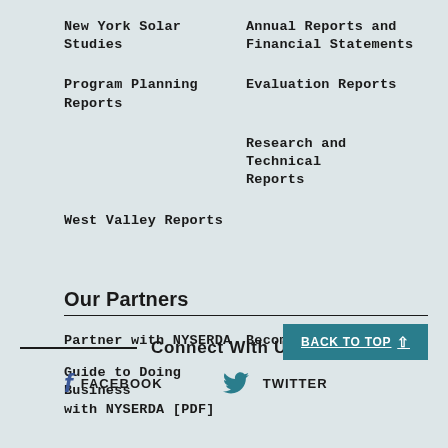New York Solar Studies
Annual Reports and Financial Statements
Program Planning Reports
Evaluation Reports
Research and Technical Reports
West Valley Reports
Our Partners
Partner with NYSERDA
Become a Contractor
Guide to Doing Business with NYSERDA [PDF]
Connect With Us
FACEBOOK
TWITTER